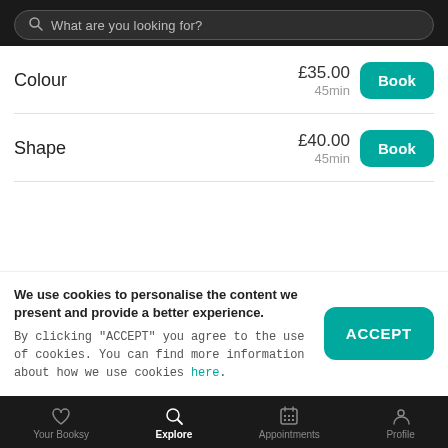What are you looking for?
Colour — £35.00 45min
Shape — £40.00 45min
We use cookies to personalise the content we present and provide a better experience. By clicking "ACCEPT" you agree to the use of cookies. You can find more information about how we use cookies here.
Your Booksy | Explore | Appointments | Profile